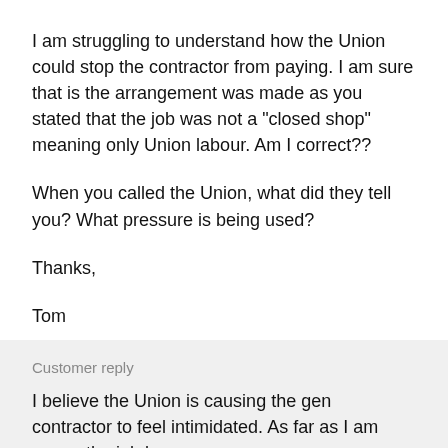I am struggling to understand how the Union could stop the contractor from paying. I am sure that is the arrangement was made as you stated that the job was not a "closed shop" meaning only Union labour. Am I correct??
When you called the Union, what did they tell you? What pressure is being used?
Thanks,
Tom
Customer reply
I believe the Union is causing the gen contractor to feel intimidated. As far as I am aware the job by no means